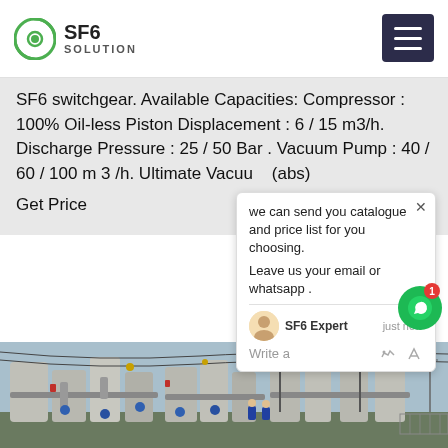SF6 SOLUTION
SF6 switchgear. Available Capacities: Compressor : 100% Oil-less Piston Displacement : 6 / 15 m3/h. Discharge Pressure : 25 / 50 Bar . Vacuum Pump : 40 / 60 / 100 m 3 /h. Ultimate Vacuum (abs)
Get Price
we can send you catalogue and price list for you choosing.
Leave us your email or whatsapp .
[Figure (photo): SF6 switchgear / high-voltage electrical substation with large gray cylindrical gas-insulated equipment, blue-clad workers, and power transmission towers in the background]